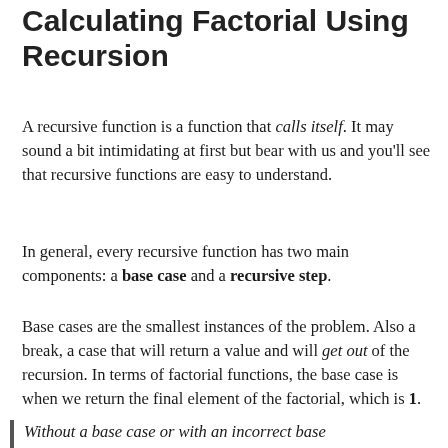Calculating Factorial Using Recursion
A recursive function is a function that calls itself. It may sound a bit intimidating at first but bear with us and you'll see that recursive functions are easy to understand.
In general, every recursive function has two main components: a base case and a recursive step.
Base cases are the smallest instances of the problem. Also a break, a case that will return a value and will get out of the recursion. In terms of factorial functions, the base case is when we return the final element of the factorial, which is 1.
Without a base case or with an incorrect base